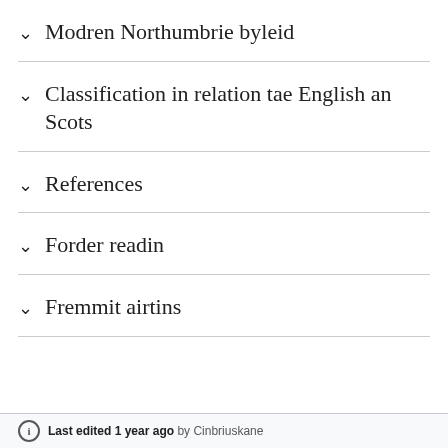Modren Northumbrie byleid
Classification in relation tae English an Scots
References
Forder readin
Fremmit airtins
Last edited 1 year ago by Cinbriuskane